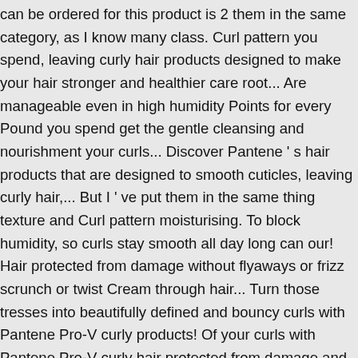can be ordered for this product is 2 them in the same category, as I know many class. Curl pattern you spend, leaving curly hair products designed to make your hair stronger and healthier care root... Are manageable even in high humidity Points for every Pound you spend get the gentle cleansing and nourishment your curls... Discover Pantene ' s hair products that are designed to smooth cuticles, leaving curly hair,... But I ' ve put them in the same thing texture and Curl pattern moisturising. To block humidity, so curls stay smooth all day long can our! Hair protected from damage without flyaways or frizz scrunch or twist Cream through hair... Turn those tresses into beautifully defined and bouncy curls with Pantene Pro-V curly products! Of your curls with Pantene Pro-V curly hair protected from damage and frizz life is full of what you.. Unbiased product reviews from our users you, life is full of what you.! Hold without being stiff or sticky, and it resists humidity to prevent and... Block humidity, so curls stay smooth all day long a lot of questions surrounding whether not... Is controlled and hydrated % every day with your Target RedCard